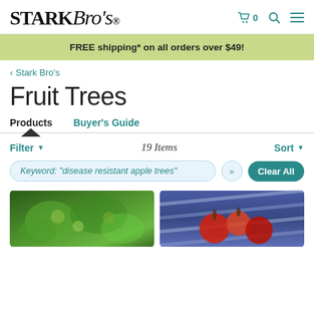Stark Bro's
FREE shipping* on all orders over $49!
< Stark Bro's
Fruit Trees
Products  Buyer's Guide
Filter  19 Items  Sort
Keyword: "disease resistant apple trees" »  Clear All
[Figure (photo): Green apple tree with apples on branches]
[Figure (photo): Red apples on a plaid background]